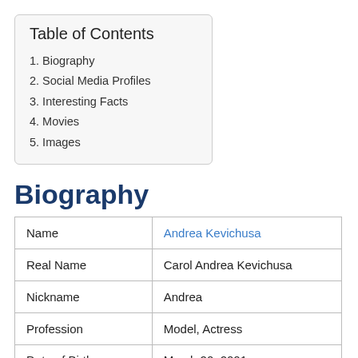Table of Contents
1. Biography
2. Social Media Profiles
3. Interesting Facts
4. Movies
5. Images
Biography
| Name | Andrea Kevichusa |
| Real Name | Carol Andrea Kevichusa |
| Nickname | Andrea |
| Profession | Model, Actress |
| Date of Birth | March 20, 2001 |